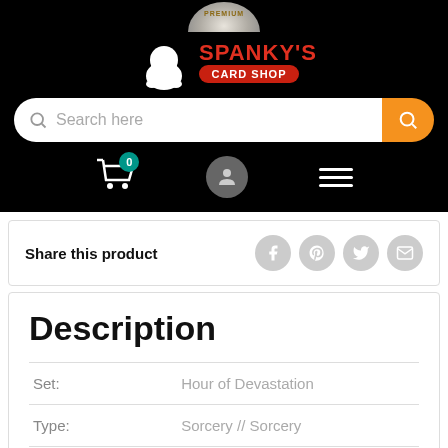[Figure (screenshot): Spanky's Card Shop website header with logo, search bar, cart icon with badge 0, user icon, and hamburger menu]
Share this product
Description
| Set: | Hour of Devastation |
| Type: | Sorcery // Sorcery |
| Rarity: | Rare |